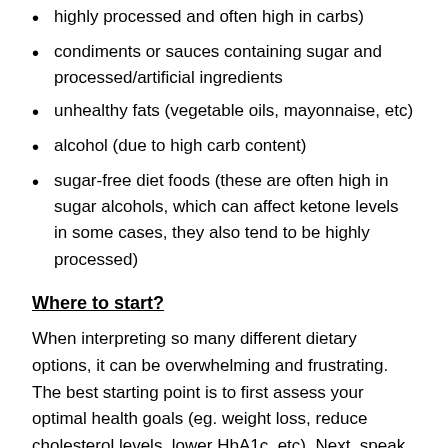highly processed and often high in carbs)
condiments or sauces containing sugar and processed/artificial ingredients
unhealthy fats (vegetable oils, mayonnaise, etc)
alcohol (due to high carb content)
sugar-free diet foods (these are often high in sugar alcohols, which can affect ketone levels in some cases, they also tend to be highly processed)
Where to start?
When interpreting so many different dietary options, it can be overwhelming and frustrating. The best starting point is to first assess your optimal health goals (eg. weight loss, reduce cholesterol levels, lower HbA1c, etc). Next, speak with your doctor about the best ways to obtain your goals given your health, lifestyle and medical needs. Most likely, you find yourself cooking out a healthy hybrid of one or a